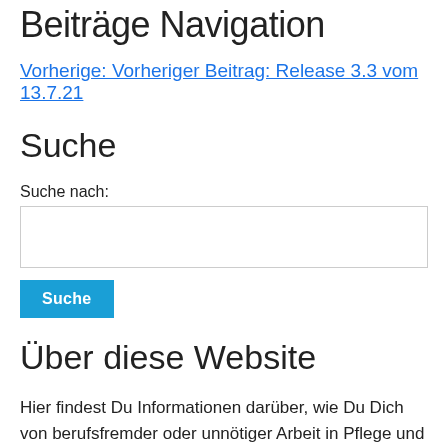Beiträge Navigation
Vorherige: Vorheriger Beitrag: Release 3.3 vom 13.7.21
Suche
Suche nach:
Über diese Website
Hier findest Du Informationen darüber, wie Du Dich von berufsfremder oder unnötiger Arbeit in Pflege und Medizin entlasten kannst. Du kannst aktiv in unserer Community mitarbeiten und Ideen einbringen.